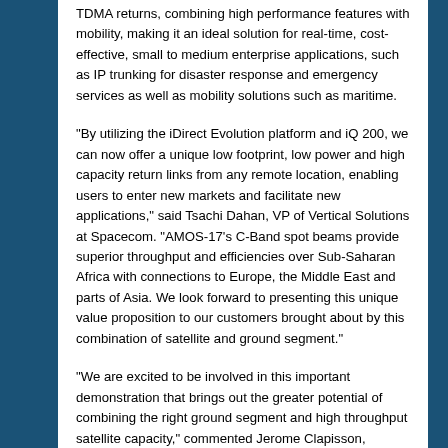TDMA returns, combining high performance features with mobility, making it an ideal solution for real-time, cost-effective, small to medium enterprise applications, such as IP trunking for disaster response and emergency services as well as mobility solutions such as maritime.
“By utilizing the iDirect Evolution platform and iQ 200, we can now offer a unique low footprint, low power and high capacity return links from any remote location, enabling users to enter new markets and facilitate new applications,” said Tsachi Dahan, VP of Vertical Solutions at Spacecom. “AMOS-17’s C-Band spot beams provide superior throughput and efficiencies over Sub-Saharan Africa with connections to Europe, the Middle East and parts of Asia. We look forward to presenting this unique value proposition to our customers brought about by this combination of satellite and ground segment.”
“We are excited to be involved in this important demonstration that brings out the greater potential of combining the right ground segment and high throughput satellite capacity,” commented Jerome Clapisson, Regional Vice President of Sales, Europe at ST Engineering iDirect.